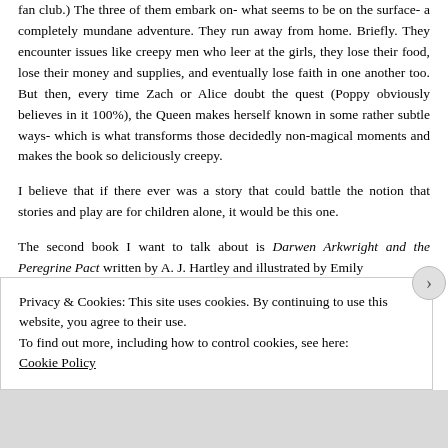fan club.) The three of them embark on- what seems to be on the surface- a completely mundane adventure. They run away from home. Briefly. They encounter issues like creepy men who leer at the girls, they lose their food, lose their money and supplies, and eventually lose faith in one another too. But then, every time Zach or Alice doubt the quest (Poppy obviously believes in it 100%), the Queen makes herself known in some rather subtle ways- which is what transforms those decidedly non-magical moments and makes the book so deliciously creepy.
I believe that if there ever was a story that could battle the notion that stories and play are for children alone, it would be this one.
The second book I want to talk about is Darwen Arkwright and the Peregrine Pact written by A. J. Hartley and illustrated by Emily
Privacy & Cookies: This site uses cookies. By continuing to use this website, you agree to their use.
To find out more, including how to control cookies, see here:
Cookie Policy
Close and accept